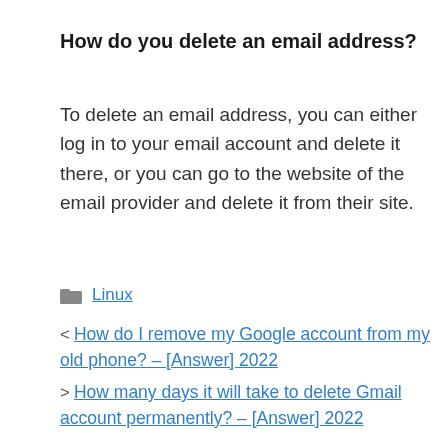How do you delete an email address?
To delete an email address, you can either log in to your email account and delete it there, or you can go to the website of the email provider and delete it from their site.
Linux
< How do I remove my Google account from my old phone? – [Answer] 2022
> How many days it will take to delete Gmail account permanently? – [Answer] 2022